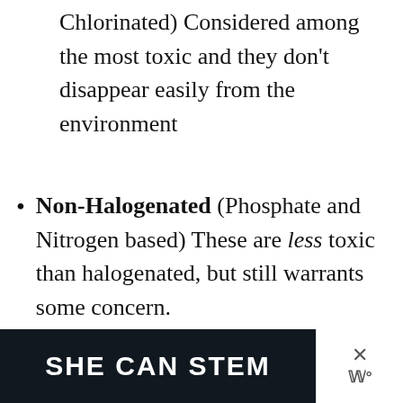Chlorinated) Considered among the most toxic and they don't disappear easily from the environment
Non-Halogenated (Phosphate and Nitrogen based) These are less toxic than halogenated, but still warrants some concern.
[Figure (screenshot): Website UI overlay with heart (save) button in teal and share button in white, plus a 'What's Next' card showing 'Cutest Kids Organic...' with a thumbnail]
[Figure (screenshot): Dark banner advertisement reading 'SHE CAN STEM' in large bold white text, with a close button and brand mark on the right]